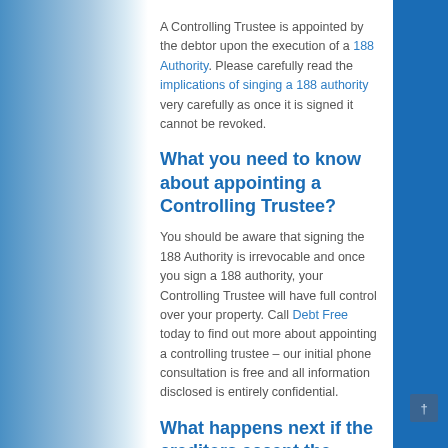A Controlling Trustee is appointed by the debtor upon the execution of a 188 Authority. Please carefully read the implications of singing a 188 authority very carefully as once it is signed it cannot be revoked.
What you need to know about appointing a Controlling Trustee?
You should be aware that signing the 188 Authority is irrevocable and once you sign a 188 authority, your Controlling Trustee will have full control over your property. Call Debt Free today to find out more about appointing a controlling trustee – our initial phone consultation is free and all information disclosed is entirely confidential.
What happens next if the creditors accept the proposal?
If the creditors vote in favour of the debtor's proposal, typically the Controlling Trustee will be appointed as the Trustee to supervise the